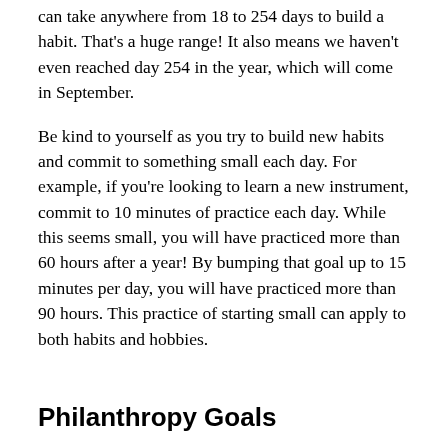can take anywhere from 18 to 254 days to build a habit. That's a huge range! It also means we haven't even reached day 254 in the year, which will come in September.
Be kind to yourself as you try to build new habits and commit to something small each day. For example, if you're looking to learn a new instrument, commit to 10 minutes of practice each day. While this seems small, you will have practiced more than 60 hours after a year! By bumping that goal up to 15 minutes per day, you will have practiced more than 90 hours. This practice of starting small can apply to both habits and hobbies.
Philanthropy Goals
Consider how you've committed to giving back so far in 2021. This could include random acts of kindness, a monthly fundraising goal or a more structured volunteering commitment. Whatever goals you set at the beginning of